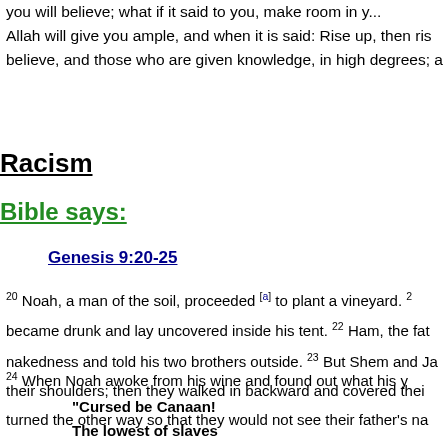you will believe; what if it said to you, make room in yo... Allah will give you ample, and when it is said: Rise up, then rise believe, and those who are given knowledge, in high degrees; a...
Racism
Bible says:
Genesis 9:20-25
20 Noah, a man of the soil, proceeded [a] to plant a vineyard. 21 became drunk and lay uncovered inside his tent. 22 Ham, the fa... nakedness and told his two brothers outside. 23 But Shem and Ja... their shoulders; then they walked in backward and covered thei... turned the other way so that they would not see their father's na...
24 When Noah awoke from his wine and found out what his y...
"Cursed be Canaan!
The lowest of slaves